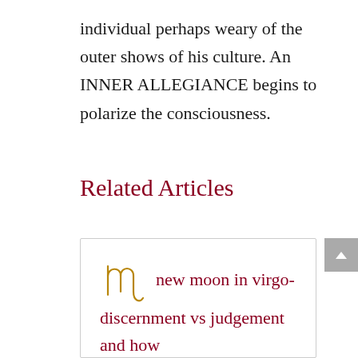individual perhaps weary of the outer shows of his culture. An INNER ALLEGIANCE begins to polarize the consciousness.
Related Articles
new moon in virgo- discernment vs judgement and how to see the Truth without shaming